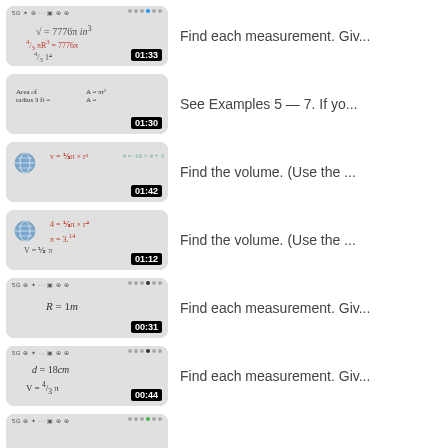[Figure (screenshot): Video thumbnail showing math formula: sqrt = 7776π in³, (4/3)πR³ = 7776π, timestamp 01:33]
Find each measurement. Giv...
[Figure (screenshot): Video thumbnail showing Area, radius, formulas, timestamp 01:30]
See Examples 5 — 7. If yo...
[Figure (screenshot): Video thumbnail with globe icon and math formulas, timestamp 01:42]
Find the volume. (Use the ...
[Figure (screenshot): Video thumbnail with globe icon and math formulas, timestamp 01:12]
Find the volume. (Use the ...
[Figure (screenshot): Video thumbnail showing R = 1m, timestamp 00:31]
Find each measurement. Giv...
[Figure (screenshot): Video thumbnail showing d=18cm, V=(4/3)π, timestamp 00:44]
Find each measurement. Giv...
[Figure (screenshot): Partial video thumbnail at bottom]